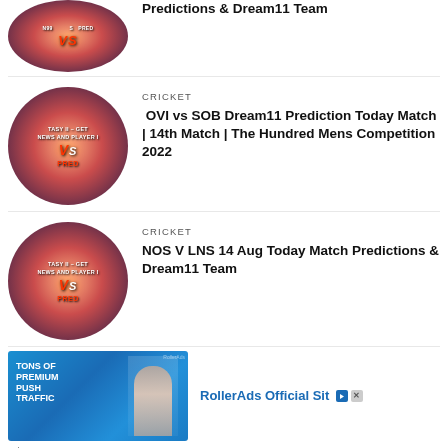[Figure (photo): Circular thumbnail with fantasy cricket VS prediction graphic, partially cropped at top]
Predictions & Dream11 Team
[Figure (photo): Circular thumbnail with fantasy cricket VS prediction graphic - TASY II GET NEWS AND PLAYER info, TROY VS PRED]
CRICKET
OVI vs SOB Dream11 Prediction Today Match | 14th Match | The Hundred Mens Competition 2022
[Figure (photo): Circular thumbnail with fantasy cricket VS prediction graphic - TASY II GET NEWS AND PLAYER info, TROY VS PRED]
CRICKET
NOS V LNS 14 Aug Today Match Predictions & Dream11 Team
[Figure (photo): RollerAds advertisement banner with woman and TONS OF PREMIUM PUSH TRAFFIC text]
RollerAds Official Sit
Ad